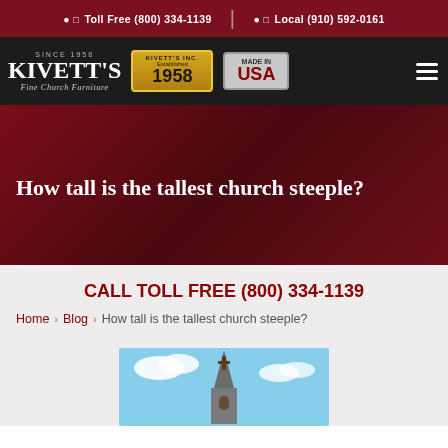Toll Free (800) 334-1139  |  Local (910) 592-0161
[Figure (logo): Kivett's Fine Church Furniture logo with 'Since 1958' text, Kivett's Inc Established 1958 badge, and Made in USA badge]
How tall is the tallest church steeple?
CALL TOLL FREE (800) 334-1139
Home > Blog > How tall is the tallest church steeple?
[Figure (photo): Photo of a church steeple against a blue sky]